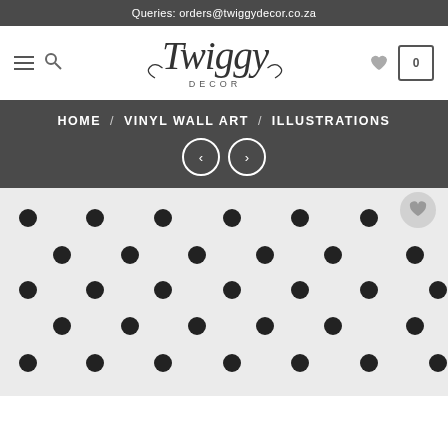Queries: orders@twiggydecor.co.za
[Figure (logo): Twiggy Decor logo with stylized cursive 'Twiggy' text and 'DECOR' below in small caps]
HOME / VINYL WALL ART / ILLUSTRATIONS
[Figure (photo): Product image showing a polka dot pattern with black dots on white/light grey background]